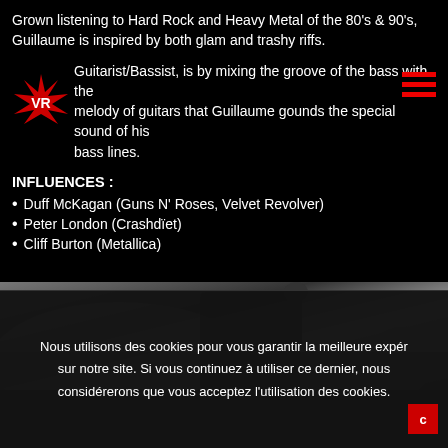Grown listening to Hard Rock and Heavy Metal of the 80's & 90's, Guillaume is inspired by both glam and trashy riffs.
[Figure (logo): VR band logo with spiky red and white design]
Guitarist/Bassist, is by mixing the groove of the bass with the melody of guitars that Guillaume gounds the special sound of his bass lines.
INFLUENCES :
Duff McKagan (Guns N' Roses, Velvet Revolver)
Peter London (Crashdïet)
Cliff Burton (Metallica)
[Figure (photo): Black and white photo of a person playing guitar/bass on stage, silhouette style]
Nous utilisons des cookies pour vous garantir la meilleure expér sur notre site. Si vous continuez à utiliser ce dernier, nous considérerons que vous acceptez l'utilisation des cookies.